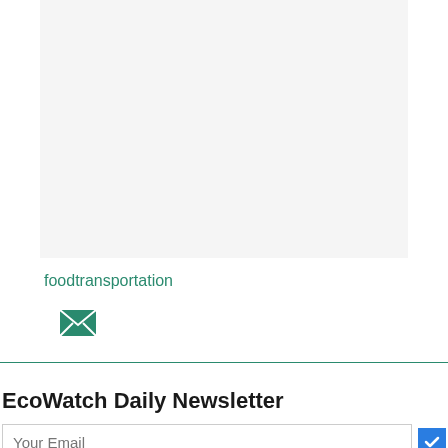[Figure (other): Light gray rectangular area placeholder/image region]
foodtransportation
[Figure (other): Teal/green envelope email icon]
EcoWatch Daily Newsletter
Your Email
Sign me up for the newsletter!  Subscribe